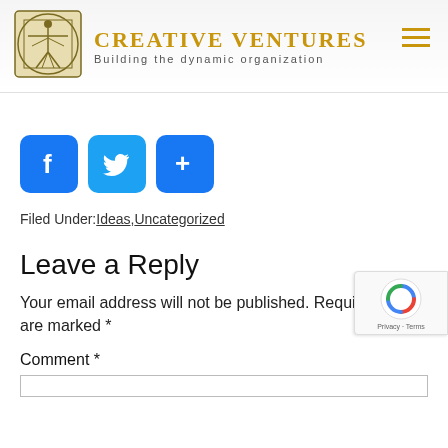Creative Ventures – Building the dynamic organization
[Figure (logo): Creative Ventures logo with Vitruvian man illustration in circular frame, brand name and tagline]
[Figure (infographic): Social share buttons: Facebook, Twitter, and More (+)]
Filed Under: Ideas, Uncategorized
Leave a Reply
Your email address will not be published. Required fields are marked *
Comment *